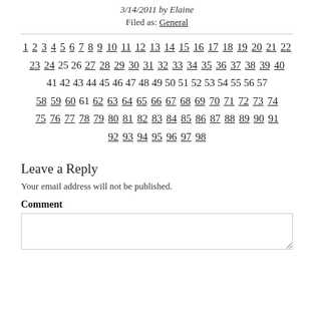3/14/2011 by Elaine
Filed as: General
1 2 3 4 5 6 7 8 9 10 11 12 13 14 15 16 17 18 19 20 21 22 23 24 25 26 27 28 29 30 31 32 33 34 35 36 37 38 39 40 41 42 43 44 45 46 47 48 49 50 51 52 53 54 55 56 57 58 59 60 61 62 63 64 65 66 67 68 69 70 71 72 73 74 75 76 77 78 79 80 81 82 83 84 85 86 87 88 89 90 91 92 93 94 95 96 97 98
Leave a Reply
Your email address will not be published.
Comment